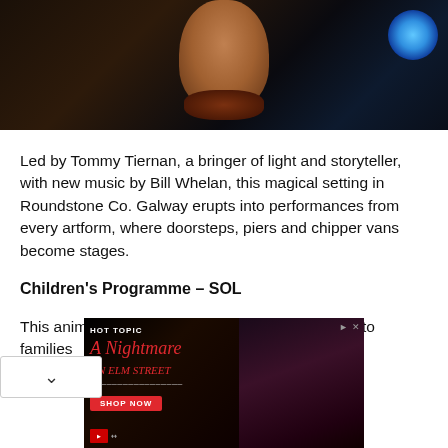[Figure (photo): Dark photo of a man with a scarf/neckerchief, dark background with blue stage light visible.]
Led by Tommy Tiernan, a bringer of light and storyteller, with new music by Bill Whelan, this magical setting in Roundstone Co. Galway erupts into performances from every artform, where doorsteps, piers and chipper vans become stages.
Children's Programme – SOL
This animated film aims to bring light and comfort to families oung children.
[Figure (photo): Advertisement banner for Hot Topic: A Nightmare on Elm Street merchandise showing two people in dark clothing.]